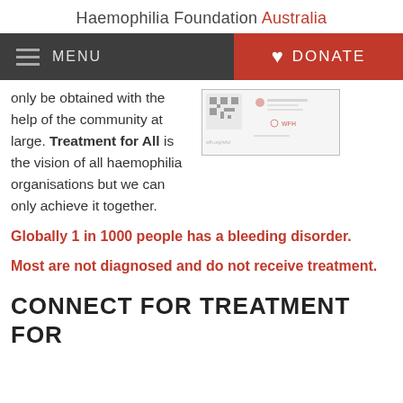Haemophilia Foundation Australia
only be obtained with the help of the community at large. Treatment for All is the vision of all haemophilia organisations but we can only achieve it together.
[Figure (screenshot): Small image showing WFH (World Federation of Hemophilia) logos and QR code, with wfh.org/whd URL visible]
Globally 1 in 1000 people has a bleeding disorder.
Most are not diagnosed and do not receive treatment.
CONNECT FOR TREATMENT FOR